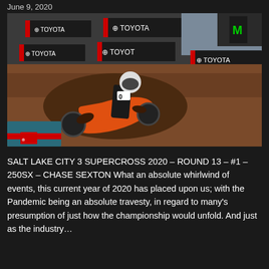June 9, 2020
[Figure (photo): Motocross rider on an orange dirt bike navigating a muddy turn at a Supercross event, with Toyota-branded track barriers visible in the background along with Monster Energy signage and stadium seating.]
SALT LAKE CITY 3 SUPERCROSS 2020 – ROUND 13 – #1 – 250SX – CHASE SEXTON What an absolute whirlwind of events, this current year of 2020 has placed upon us; with the Pandemic being an absolute travesty, in regard to many's presumption of just how the championship would unfold. And just as the industry…